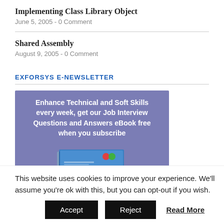Implementing Class Library Object
June 5, 2005 - 0 Comment
Shared Assembly
August 9, 2005 - 0 Comment
EXFORSYS E-NEWSLETTER
[Figure (illustration): Newsletter banner with purple background reading: Enhance Technical and Soft Skills every week, get our Job Interview Questions and Answers eBook free when you subscribe, with a book image at the bottom]
This website uses cookies to improve your experience. We'll assume you're ok with this, but you can opt-out if you wish.
Accept   Reject   Read More